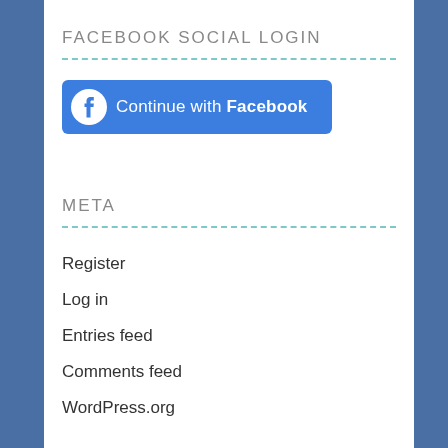FACEBOOK SOCIAL LOGIN
[Figure (other): Facebook 'Continue with Facebook' login button with Facebook logo icon]
META
Register
Log in
Entries feed
Comments feed
WordPress.org